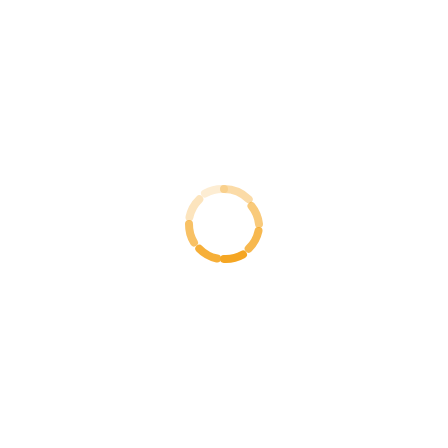[Figure (other): A dashed circular loading spinner icon rendered in orange/amber color, composed of curved arc segments arranged in a circle pattern, centered on a white background.]